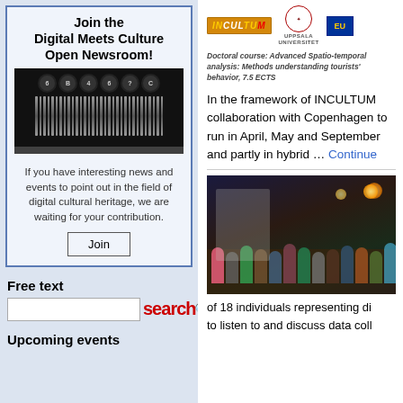Join the Digital Meets Culture Open Newsroom!
[Figure (photo): Close-up of typewriter keys and type bars]
If you have interesting news and events to point out in the field of digital cultural heritage, we are waiting for your contribution.
Join
Free text
[Figure (screenshot): Search input box with 'search' button in red letters and magnifying glass icon]
Upcoming events
[Figure (logo): INCULTUM logo, Uppsala Universitet logo, EU flag logo]
Doctoral course: Advanced Spatio-temporal analysis: Methods understanding tourists' behavior, 7.5 ECTS
In the framework of INCULTUM collaboration with Copenhagen to run in April, May and September and partly in hybrid … Continue
[Figure (photo): Photo of attendees at an indoor event, people seated at tables in a dimly lit room]
of 18 individuals representing di to listen to and discuss data coll